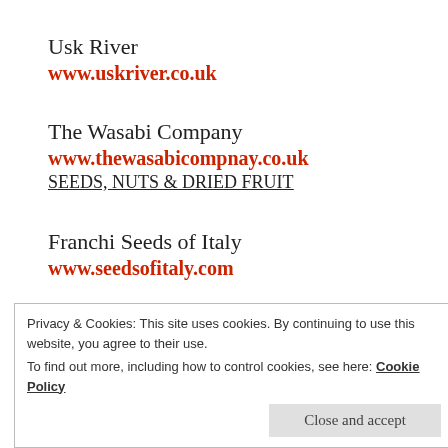Usk River
www.uskriver.co.uk
The Wasabi Company
www.thewasabicompnay.co.uk
SEEDS, NUTS & DRIED FRUIT
Franchi Seeds of Italy
www.seedsofitaly.com
Hot Roasted Nuts
hotcookednuts@hotmail.com
Privacy & Cookies: This site uses cookies. By continuing to use this website, you agree to their use.
To find out more, including how to control cookies, see here: Cookie Policy